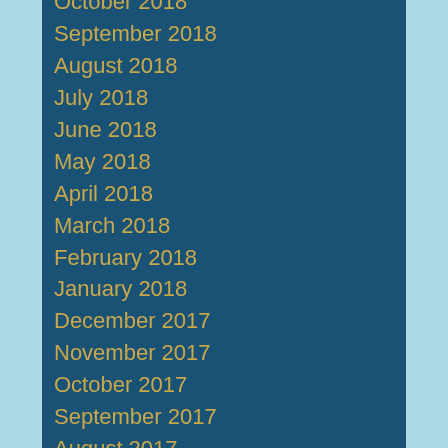October 2018
September 2018
August 2018
July 2018
June 2018
May 2018
April 2018
March 2018
February 2018
January 2018
December 2017
November 2017
October 2017
September 2017
August 2017
July 2017
June 2017
May 2017
April 2017
March 2017